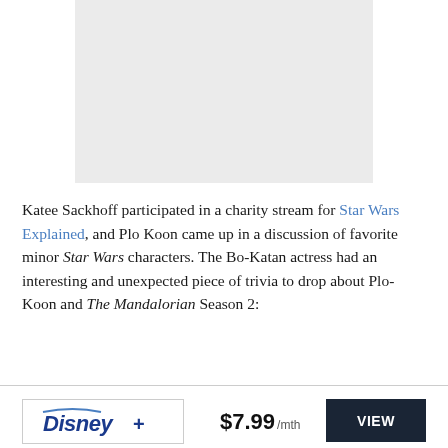[Figure (photo): Placeholder image area (light gray rectangle)]
Katee Sackhoff participated in a charity stream for Star Wars Explained, and Plo Koon came up in a discussion of favorite minor Star Wars characters. The Bo-Katan actress had an interesting and unexpected piece of trivia to drop about Plo-Koon and The Mandalorian Season 2:
[Figure (logo): Disney+ logo in a bordered box with price $7.99/mth and a VIEW button]